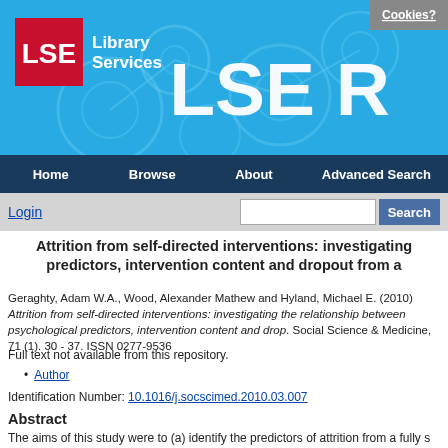[Figure (screenshot): LSE Library Services banner with blue background, LSE red logo box, 'Library Services' text, network/molecule circle decorations in lighter blue, 'LSE R' large text on right, and 'Cookies?' button top right]
Home   Browse   About   Advanced Search
Login   [search box]   Search
Attrition from self-directed interventions: investigating predictors, intervention content and dropout from a
Geraghty, Adam W.A., Wood, Alexander Mathew and Hyland, Michael E. (2010) Attrition from self-directed interventions: investigating the relationship between psychological predictors, intervention content and dropout. Social Science & Medicine, 71 (1). 30 - 37. ISSN 0277-9536
Full text not available from this repository.
Author
Identification Number: 10.1016/j.socscimed.2010.03.007
Abstract
The aims of this study were to (a) identify the predictors of attrition from a fully s